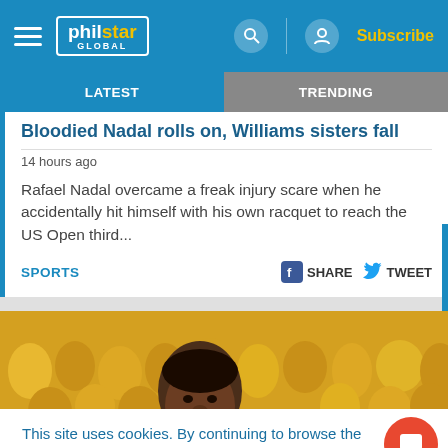philstar GLOBAL — Subscribe
LATEST | TRENDING
Bloodied Nadal rolls on, Williams sisters fall
14 hours ago
Rafael Nadal overcame a freak injury scare when he accidentally hit himself with his own racquet to reach the US Open third...
SPORTS  SHARE  TWEET
[Figure (photo): Basketball player looking forward in front of crowd wearing yellow shirts, with cookie consent notice overlay]
This site uses cookies. By continuing to browse the site, you are agreeing to our use of cookies.